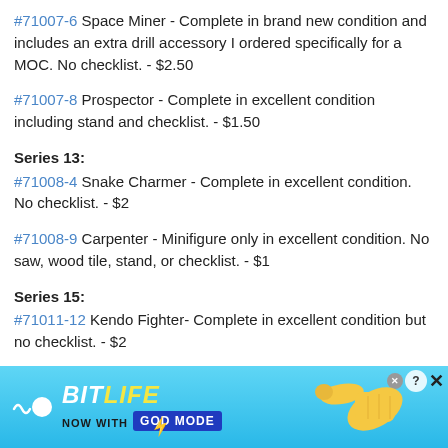#71007-6 Space Miner - Complete in brand new condition and includes an extra drill accessory I ordered specifically for a MOC. No checklist. - $2.50
#71007-8 Prospector - Complete in excellent condition including stand and checklist. - $1.50
Series 13:
#71008-4 Snake Charmer - Complete in excellent condition. No checklist. - $2
#71008-9 Carpenter - Minifigure only in excellent condition. No saw, wood tile, stand, or checklist. - $1
Series 15:
#71011-12 Kendo Fighter- Complete in excellent condition but no checklist. - $2
#71011-13 Shark Suit Guy - Complete in great condition but no checklist. -
[Figure (screenshot): BitLife advertisement banner: 'BitLife - Now with GOD MODE' on a blue gradient background with a pointing hand graphic and close/question mark controls.]